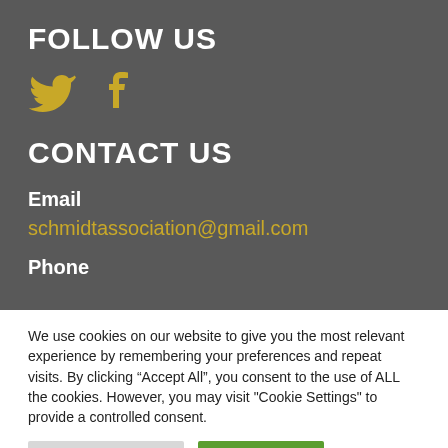FOLLOW US
[Figure (illustration): Twitter bird icon (gold/yellow) and Facebook 'f' icon (gold/yellow)]
CONTACT US
Email
schmidtassociation@gmail.com
Phone
We use cookies on our website to give you the most relevant experience by remembering your preferences and repeat visits. By clicking “Accept All”, you consent to the use of ALL the cookies. However, you may visit "Cookie Settings" to provide a controlled consent.
Cookie Settings | Accept All